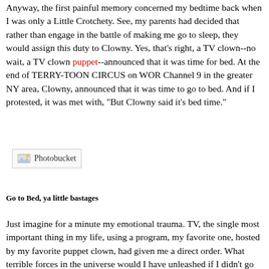Anyway, the first painful memory concerned my bedtime back when I was only a Little Crotchety. See, my parents had decided that rather than engage in the battle of making me go to sleep, they would assign this duty to Clowny. Yes, that's right, a TV clown--no wait, a TV clown puppet--announced that it was time for bed. At the end of TERRY-TOON CIRCUS on WOR Channel 9 in the greater NY area, Clowny, announced that it was time to go to bed. And if I protested, it was met with, "But Clowny said it's bed time."
[Figure (photo): Photobucket image placeholder box]
Go to Bed, ya little bastages
Just imagine for a minute my emotional trauma. TV, the single most important thing in my life, using a program, my favorite one, hosted by my favorite puppet clown, had given me a direct order. What terrible forces in the universe would I have unleashed if I didn't go to sleep then? So, I trundled off